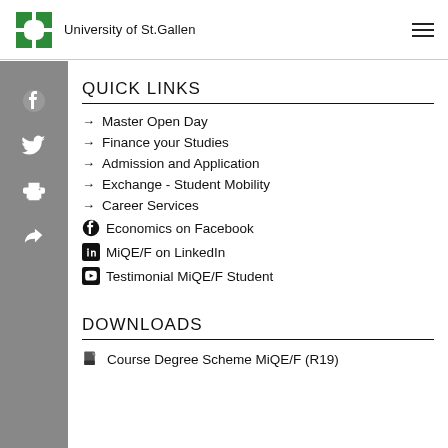University of St.Gallen
QUICK LINKS
Master Open Day
Finance your Studies
Admission and Application
Exchange - Student Mobility
Career Services
Economics on Facebook
MiQE/F on LinkedIn
Testimonial MiQE/F Student
DOWNLOADS
Course Degree Scheme MiQE/F (R19)